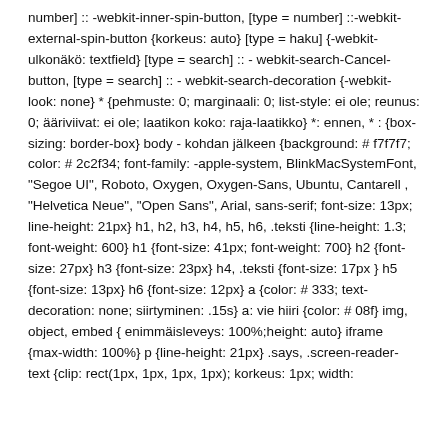number] :: -webkit-inner-spin-button, [type = number] ::-webkit-external-spin-button {korkeus: auto} [type = haku] {-webkit-ulkonäkö: textfield} [type = search] ::-webkit-search-Cancel-button, [type = search] ::-webkit-search-decoration {-webkit-look: none} * {pehmuste: 0; marginaali: 0; list-style: ei ole; reunus: 0; ääriviivat: ei ole; laatikon koko: raja-laatikko} *: ennen, * : {box-sizing: border-box} body - kohdan jälkeen {background: # f7f7f7; color: # 2c2f34; font-family: -apple-system, BlinkMacSystemFont, "Segoe UI", Roboto, Oxygen, Oxygen-Sans, Ubuntu, Cantarell , "Helvetica Neue", "Open Sans", Arial, sans-serif; font-size: 13px; line-height: 21px} h1, h2, h3, h4, h5, h6, .teksti {line-height: 1.3; font-weight: 600} h1 {font-size: 41px; font-weight: 700} h2 {font-size: 27px} h3 {font-size: 23px} h4, .teksti {font-size: 17px } h5 {font-size: 13px} h6 {font-size: 12px} a {color: # 333; text-decoration: none; siirtyminen: .15s} a: vie hiiri {color: # 08f} img, object, embed { enimmäisleveys: 100%;height: auto} iframe {max-width: 100%} p {line-height: 21px} .says, .screen-reader-text {clip: rect(1px, 1px, 1px, 1px); korkeus: 1px; width: